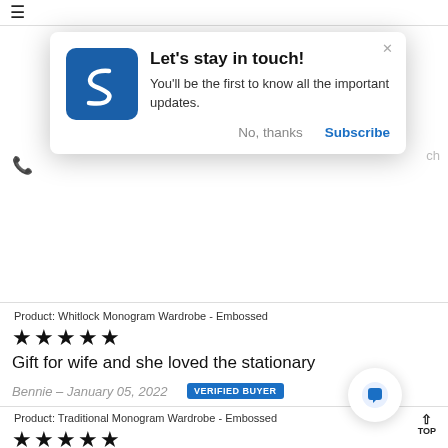[Figure (screenshot): Popup notification with blue logo containing letter S, title 'Let's stay in touch!', body text about updates, and No thanks / Subscribe buttons]
Product: Whitlock Monogram Wardrobe - Embossed
★★★★★
Gift for wife and she loved the stationary
Bennie – January 05, 2022  VERIFIED BUYER
Product: Traditional Monogram Wardrobe - Embossed
★★★★★
I am thrilled with my new stationery! The cre[am]... navy blue liners and embossed script is just [elegan]t
Elizabeth – October 14, 2021  VERIFIED BUYER